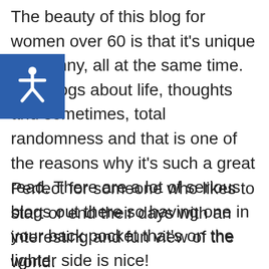The beauty of this blog for women over 60 is that it's unique and funny, all at the same time. She blogs about life, thoughts and sometimes, total randomness and that is one of the reasons why it's such a great read. There are a lot of serious blogs out there so having one in your back pocket that's on the lighter side is nice!
Perfect for someone who likes to start or end their days with an interesting and fun view of the world.